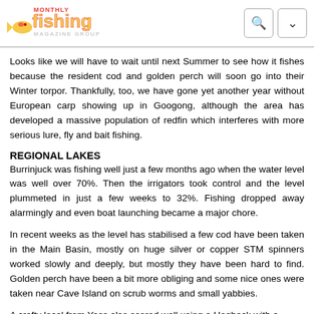Fishing Monthly Magazine Group
Looks like we will have to wait until next Summer to see how it fishes because the resident cod and golden perch will soon go into their Winter torpor. Thankfully, too, we have gone yet another year without European carp showing up in Googong, although the area has developed a massive population of redfin which interferes with more serious lure, fly and bait fishing.
REGIONAL LAKES
Burrinjuck was fishing well just a few months ago when the water level was well over 70%. Then the irrigators took control and the level plummeted in just a few weeks to 32%. Fishing dropped away alarmingly and even boat launching became a major chore.
In recent weeks as the level has stabilised a few cod have been taken in the Main Basin, mostly on huge silver or copper STM spinners worked slowly and deeply, but mostly they have been hard to find. Golden perch have been a bit more obliging and some nice ones were taken near Cave Island on scrub worms and small yabbies.
A crafty local from Yass also scored well using a Hogback with a